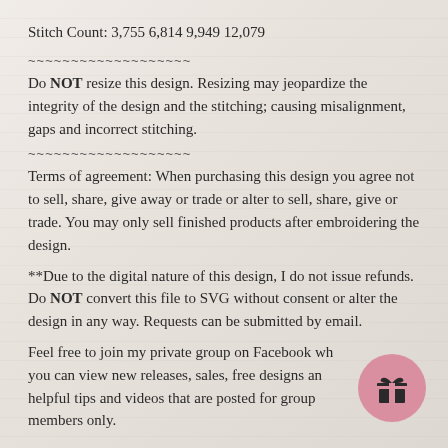Stitch Count: 3,755 6,814 9,949 12,079
~~~~~~~~~~~~~~~~~~~
Do NOT resize this design. Resizing may jeopardize the integrity of the design and the stitching; causing misalignment, gaps and incorrect stitching.
~~~~~~~~~~~~~~~~~~~
Terms of agreement: When purchasing this design you agree not to sell, share, give away or trade or alter to sell, share, give or trade. You may only sell finished products after embroidering the design.
**Due to the digital nature of this design, I do not issue refunds. Do NOT convert this file to SVG without consent or alter the design in any way. Requests can be submitted by email.
Feel free to join my private group on Facebook wh you can view new releases, sales, free designs an helpful tips and videos that are posted for group members only.